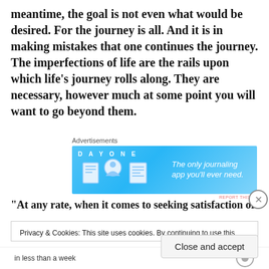meantime, the goal is not even what would be desired. For the journey is all. And it is in making mistakes that one continues the journey. The imperfections of life are the rails upon which life's journey rolls along. They are necessary, however much at some point you will want to go beyond them.
[Figure (other): Advertisement banner for Day One journaling app with blue background, app icons on the left, and tagline 'The only journaling app you'll ever need.' on the right.]
“At any rate, when it comes to seeking satisfaction of
Privacy & Cookies: This site uses cookies. By continuing to use this website, you agree to their use.
To find out more, including how to control cookies, see here: Cookie Policy
Close and accept
in less than a week